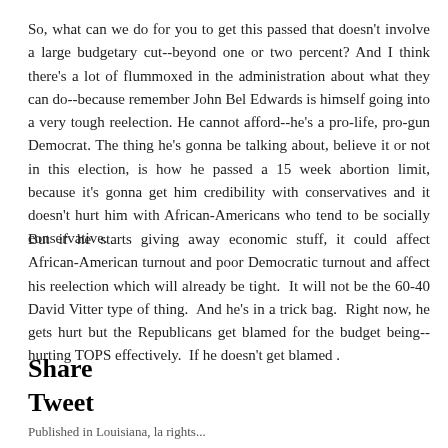So, what can we do for you to get this passed that doesn't involve a large budgetary cut--beyond one or two percent? And I think there's a lot of flummoxed in the administration about what they can do--because remember John Bel Edwards is himself going into a very tough reelection. He cannot afford--he's a pro-life, pro-gun Democrat. The thing he's gonna be talking about, believe it or not in this election, is how he passed a 15 week abortion limit, because it's gonna get him credibility with conservatives and it doesn't hurt him with African-Americans who tend to be socially conservative.
But if he starts giving away economic stuff, it could affect African-American turnout and poor Democratic turnout and affect his reelection which will already be tight.  It will not be the 60-40 David Vitter type of thing.  And he's in a trick bag.  Right now, he gets hurt but the Republicans get blamed for the budget being-- hurting TOPS effectively.  If he doesn't get blamed .
Share
Tweet
Published in Louisiana, la rights...